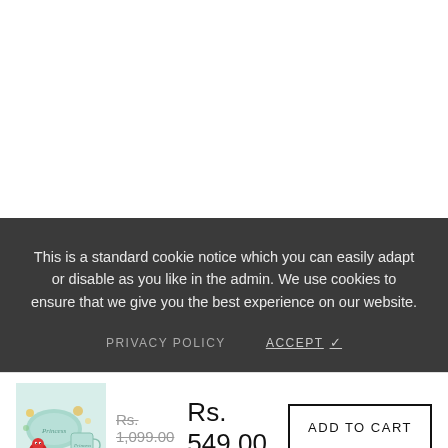This is a standard cookie notice which you can easily adapt or disable as you like in the admin. We use cookies to ensure that we give you the best experience on our website.
PRIVACY POLICY   ACCEPT ✓
[Figure (photo): Product thumbnail showing a teal/mint princess-themed pillow and mug set with a small red character toy]
Rs. 1,099.00 Rs. 549.00
ADD TO CART